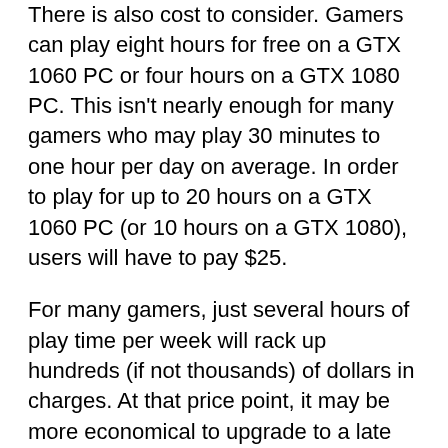There is also cost to consider. Gamers can play eight hours for free on a GTX 1060 PC or four hours on a GTX 1080 PC. This isn't nearly enough for many gamers who may play 30 minutes to one hour per day on average. In order to play for up to 20 hours on a GTX 1060 PC (or 10 hours on a GTX 1080), users will have to pay $25.
For many gamers, just several hours of play time per week will rack up hundreds (if not thousands) of dollars in charges. At that price point, it may be more economical to upgrade to a late model graphics card, or buy an entry level gaming PC powered with a GTX 1060 card, which is plenty powerful to play most games available at the moment.
The real strategy behind GeForce NOW
With that in mind, NVIDIA estimates there are more than 200 million GeForce users around the world, and its average selling price for its graphics cards is $180 per unit. That works out to over $30 billion worth of revenue. Of course, NVIDIA isn't going to suddenly generate that